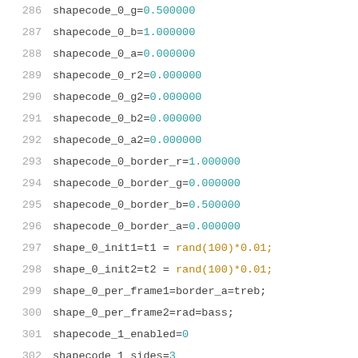286   shapecode_0_g=0.500000
287   shapecode_0_b=1.000000
288   shapecode_0_a=0.000000
289   shapecode_0_r2=0.000000
290   shapecode_0_g2=0.000000
291   shapecode_0_b2=0.000000
292   shapecode_0_a2=0.000000
293   shapecode_0_border_r=1.000000
294   shapecode_0_border_g=0.000000
295   shapecode_0_border_b=0.500000
296   shapecode_0_border_a=0.000000
297   shape_0_init1=t1 = rand(100)*0.01;
298   shape_0_init2=t2 = rand(100)*0.01;
299   shape_0_per_frame1=border_a=treb;
300   shape_0_per_frame2=rad=bass;
301   shapecode_1_enabled=0
302   shapecode_1_sides=3
303   shapecode_1_additive=0
304   shapecode_1_thickOutline=1
305   shapecode_1_textured=0
306   shapecode_1_x=0.370000